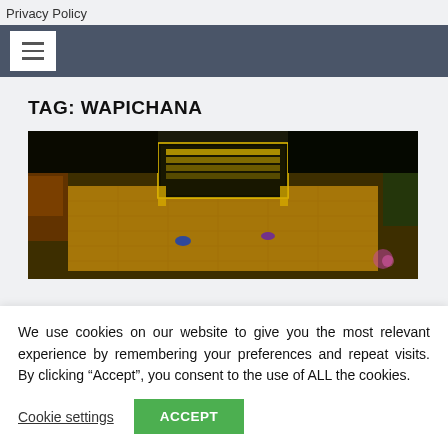Privacy Policy
[Figure (other): Navigation bar with hamburger menu icon (three horizontal lines) on dark blue-gray background]
TAG: WAPICHANA
[Figure (photo): Aerial night photograph of a large illuminated building complex with golden/yellow lighting, viewed from above, with cars visible in the parking area]
We use cookies on our website to give you the most relevant experience by remembering your preferences and repeat visits. By clicking “Accept”, you consent to the use of ALL the cookies.
Cookie settings
ACCEPT